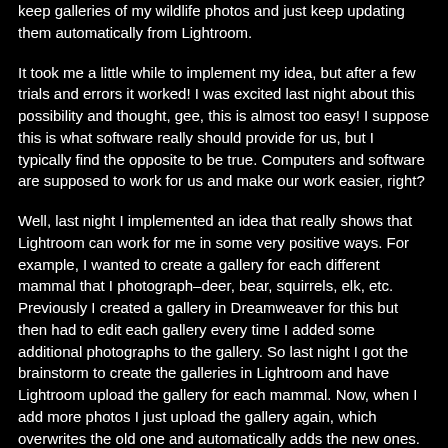keep galleries of my wildlife photos and just keep updating them automatically from Lightroom.
It took me a little while to implement my idea, but after a few trials and errors it worked! I was excited last night about this possibility and thought, gee, this is almost too easy! I suppose this is what software really should provide for us, but I typically find the opposite to be true. Computers and software are supposed to work for us and make our work easier, right?
Well, last night I implemented an idea that really shows that Lightroom can work for me in some very positive ways. For example, I wanted to create a gallery for each different mammal that I photograph–deer, bear, squirrels, elk, etc. Previously I created a gallery in Dreamweaver for this but then had to edit each gallery every time I added some additional photographs to the gallery. So last night I got the brainstorm to create the galleries in Lightroom and have Lightroom upload the gallery for each mammal. Now, when I add more photos I just upload the gallery again, which overwrites the old one and automatically adds the new ones. Now that's efficient!
So now my website is starting to feature some of these wildlife galleries. You can go to my website and see these galleries listed on the right-hand